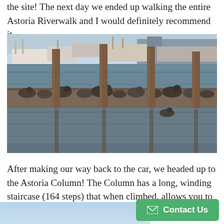the site! The next day we ended up walking the entire Astoria Riverwalk and I would definitely recommend it.
[Figure (photo): Harbor scene with sea lions resting on floating docks, wooden pilings, and fishing boats/ships in the background on the water]
After making our way back to the car, we headed up to the Astoria Column! The Column has a long, winding staircase (164 steps) that when climbed, allows you to soak in a unique 360 degree views that stretch for miles and cities.